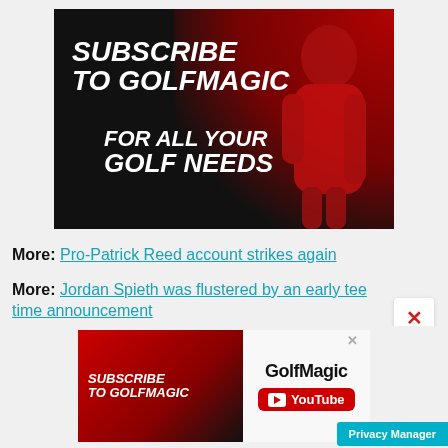[Figure (screenshot): GolfMagic subscription banner: dark red/black background with golfer, text 'SUBSCRIBE TO GOLFMAGIC FOR ALL YOUR GOLF NEEDS' in white bold italic font]
More: Pro-Patrick Reed account strikes again
More: Jordan Spieth was flustered by an early tee time announcement
[Figure (screenshot): GolfMagic YouTube subscription banner advertisement with red left half showing 'SUBSCRIBE TO GOLFMAGIC' and white right half showing 'GolfMagic YouTube' branding]
Privacy Manager